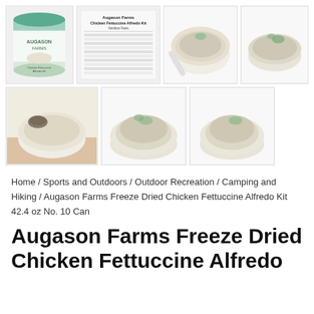[Figure (photo): Product image gallery showing Augason Farms Freeze Dried Chicken Fettuccine Alfredo Kit. Row 1: product can with teal label, nutrition facts label sheet, bowl of prepared food (top view), bowl of prepared food (angled). Row 2: bowl of prepared food with toppings on cloth, bowl of prepared food (front), bowl of prepared food (front angled).]
Home / Sports and Outdoors / Outdoor Recreation / Camping and Hiking / Augason Farms Freeze Dried Chicken Fettuccine Alfredo Kit 42.4 oz No. 10 Can
Augason Farms Freeze Dried Chicken Fettuccine Alfredo